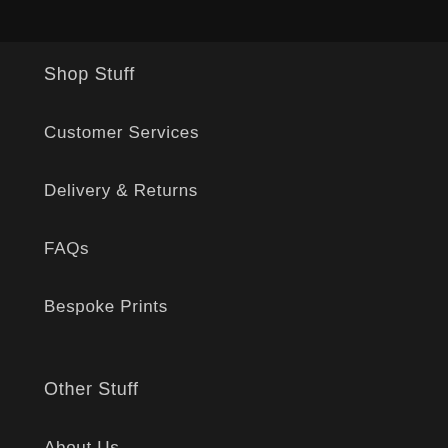Shop Stuff
Customer Services
Delivery & Returns
FAQs
Bespoke Prints
Other Stuff
About Us
Trade